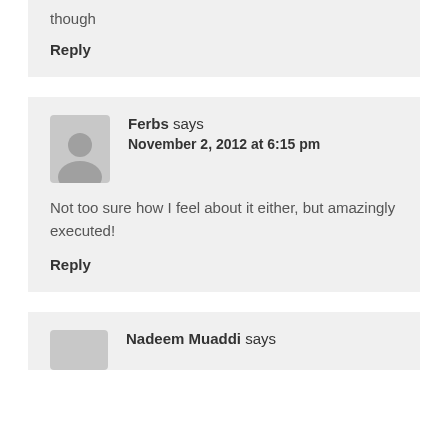though
Reply
Ferbs says November 2, 2012 at 6:15 pm
Not too sure how I feel about it either, but amazingly executed!
Reply
Nadeem Muaddi says